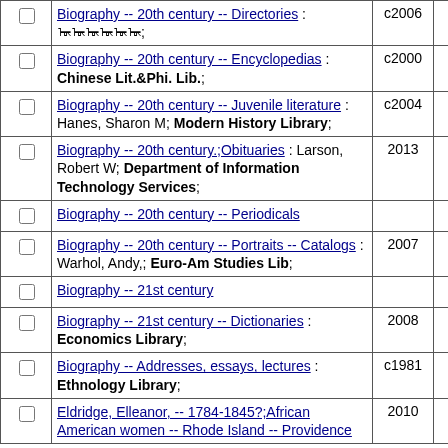|  | Subject | Year | Count |
| --- | --- | --- | --- |
| ☐ | Biography -- 20th century -- Directories : ᠦᠦᠦᠦᠦᠦ; | c2006 | 1 |
| ☐ | Biography -- 20th century -- Encyclopedias : Chinese Lit.&Phi. Lib.; | c2000 | 1 |
| ☐ | Biography -- 20th century -- Juvenile literature : Hanes, Sharon M; Modern History Library; | c2004 | 1 |
| ☐ | Biography -- 20th century.;Obituaries : Larson, Robert W; Department of Information Technology Services; | 2013 | 1 |
| ☐ | Biography -- 20th century -- Periodicals |  | 6 |
| ☐ | Biography -- 20th century -- Portraits -- Catalogs : Warhol, Andy,; Euro-Am Studies Lib; | 2007 | 1 |
| ☐ | Biography -- 21st century |  | 3 |
| ☐ | Biography -- 21st century -- Dictionaries : Economics Library; | 2008 | 1 |
| ☐ | Biography -- Addresses, essays, lectures : Ethnology Library; | c1981 | 1 |
| ☐ | Eldridge, Elleanor, -- 1784-1845?;African American women -- Rhode Island -- Providence | 2010 |  |